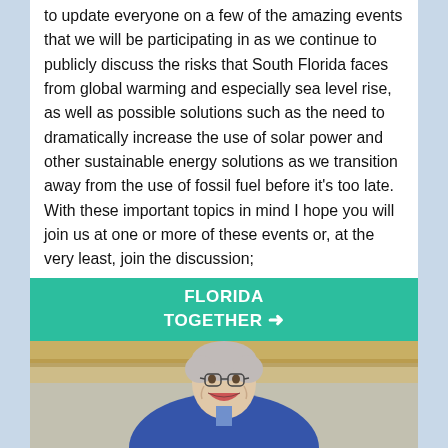to update everyone on a few of the amazing events that we will be participating in as we continue to publicly discuss the risks that South Florida faces from global warming and especially sea level rise, as well as possible solutions such as the need to dramatically increase the use of solar power and other sustainable energy solutions as we transition away from the use of fossil fuel before it's too late. With these important topics in mind I hope you will join us at one or more of these events or, at the very least, join the discussion;
[Figure (logo): Florida Together logo — white bold text on teal/green background with arrow pointing right]
[Figure (photo): Photo of a smiling older man with grey hair and glasses wearing a blue suit jacket, laughing, with shelving visible in background]